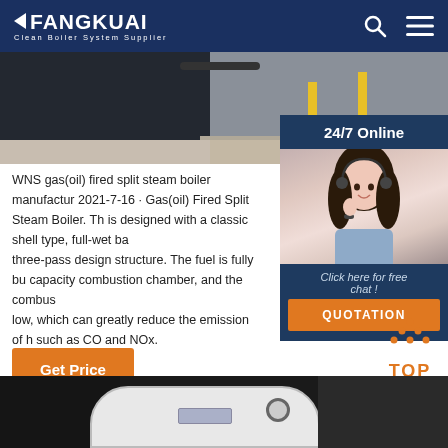FANGKUAI — Clean Boiler System Supplier
[Figure (photo): Industrial boiler equipment installed outdoors with yellow safety poles on concrete floor]
[Figure (photo): Customer service representative with headset — 24/7 Online chat widget with QUOTATION button]
WNS gas(oil) fired split steam boiler manufactur 2021-7-16 · Gas(oil) Fired Split Steam Boiler. Th is designed with a classic shell type, full-wet ba three-pass design structure. The fuel is fully bu capacity combustion chamber, and the combus low, which can greatly reduce the emission of h such as CO and NOx.
[Figure (infographic): TOP scroll-to-top button with orange dots icon]
[Figure (photo): Bottom portion of industrial boiler — white cylindrical tank against dark background]